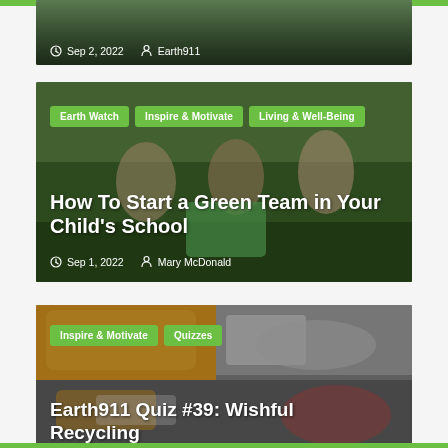[Figure (photo): Partial view of a nature/outdoor article card with date Sep 2, 2022 and author Earth911]
Sep 2, 2022   Earth911
[Figure (photo): Children working together with a recycling bin outdoors in a green garden setting]
Earth Watch   Inspire & Motivate   Living & Well-Being
How To Start a Green Team in Your Child's School
Sep 1, 2022   Mary McDonald
[Figure (photo): Collection of recyclable plastic containers and bottles mixed together]
Inspire & Motivate   Quizzes
Earth911 Quiz #39: Wishful Recycling